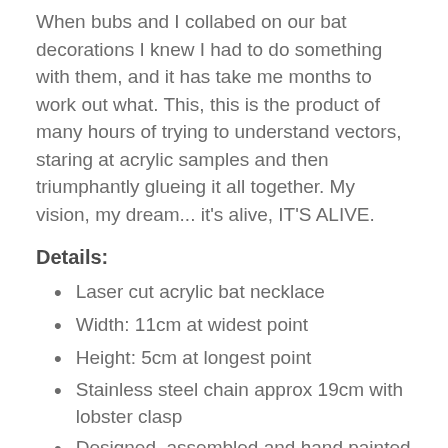When bubs and I collabed on our bat decorations I knew I had to do something with them, and it has take me months to work out what. This, this is the product of many hours of trying to understand vectors, staring at acrylic samples and then triumphantly glueing it all together. My vision, my dream... it's alive, IT'S ALIVE.
Details:
Laser cut acrylic bat necklace
Width: 11cm at widest point
Height: 5cm at longest point
Stainless steel chain approx 19cm with lobster clasp
Designed, assembled and hand painted by my own fair hand in Lahndan Tahn.